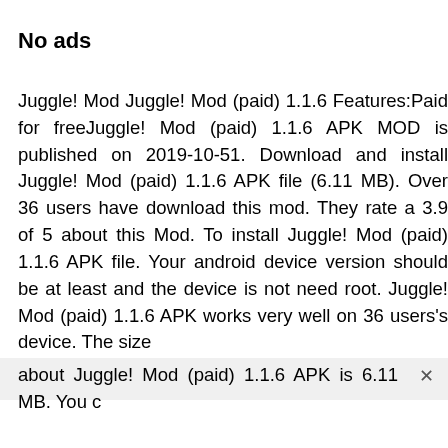No ads
Juggle! Mod Juggle! Mod (paid) 1.1.6 Features:Paid for freeJuggle! Mod (paid) 1.1.6 APK MOD is published on 2019-10-51. Download and install Juggle! Mod (paid) 1.1.6 APK file (6.11 MB). Over 36 users have download this mod. They rate a 3.9 of 5 about this Mod. To install Juggle! Mod (paid) 1.1.6 APK file. Your android device version should be at least and the device is not need root. Juggle! Mod (paid) 1.1.6 APK works very well on 36 users's device. The size about Juggle! Mod (paid) 1.1.6 APK is 6.11 MB. You c